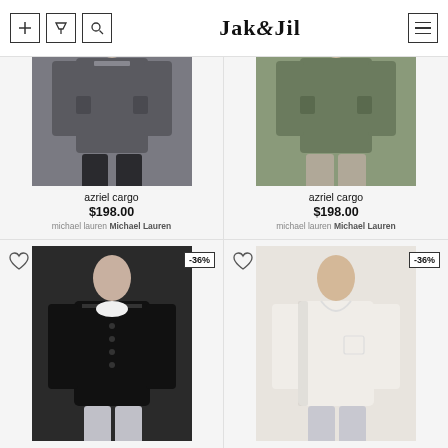Jak & Jil
[Figure (photo): Gray cargo jacket worn by model, cropped at top]
azriel cargo
$198.00
michael lauren Michael Lauren
[Figure (photo): Olive/green cargo jacket worn by model, cropped at top]
azriel cargo
$198.00
michael lauren Michael Lauren
[Figure (photo): Black barn jacket worn by model, -36% discount badge]
finbar barn
$110.00 $174.00
michael lauren Michael Lauren
[Figure (photo): White/cream barn jacket worn by model, -36% discount badge]
finbar barn
$110.00 $174.00
michael lauren Michael Lauren